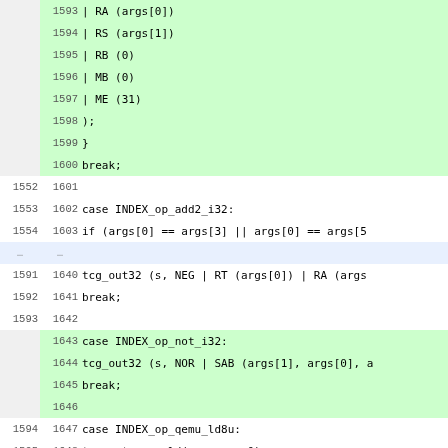[Figure (screenshot): Code diff viewer showing two columns of line numbers and source code lines in a monospace font. Green-highlighted lines are additions, white lines are context, and blue-highlighted lines are selected/special. The code is C source showing tcg (Tiny Code Generator) backend operations for QEMU PPC architecture.]